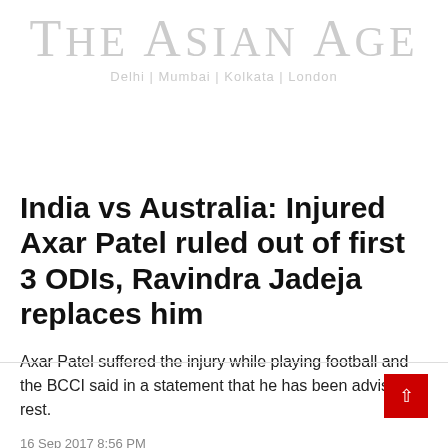THE ASIAN AGE
Delhi | Mumbai | Kolkata | London
India vs Australia: Injured Axar Patel ruled out of first 3 ODIs, Ravindra Jadeja replaces him
Axar Patel suffered the injury while playing football and the BCCI said in a statement that he has been advised rest.
16 Sep 2017 8:56 PM